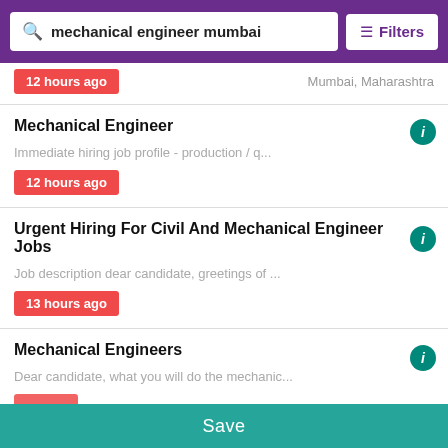mechanical engineer mumbai | Filters
12 hours ago   Mumbai, Maharashtra
Mechanical Engineer
Immediate hiring job profile - production / q...
12 hours ago
Urgent Hiring For Civil And Mechanical Engineer Jobs
Job description dear candidate, greetings of ...
13 hours ago
Mechanical Engineers
Dear candidate, what you will do the mechanic...
Save